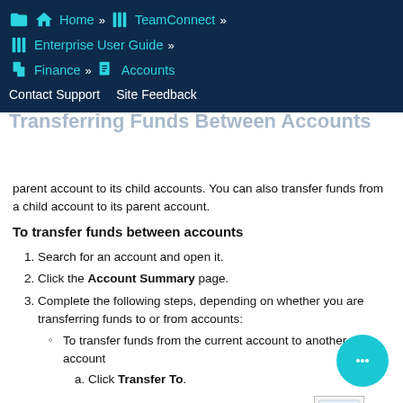Home » TeamConnect » Enterprise User Guide » Finance » Accounts | Contact Support  Site Feedback
Transferring Funds Between Accounts
parent account to its child accounts. You can also transfer funds from a child account to its parent account.
To transfer funds between accounts
1. Search for an account and open it.
2. Click the Account Summary page.
3. Complete the following steps, depending on whether you are transferring funds to or from accounts:
• To transfer funds from the current account to another account
a. Click Transfer To.
b. On the Transfer Funds page, click the Search Accounts icon next to the To field to